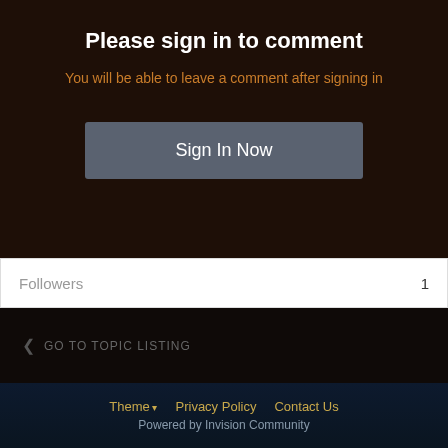Please sign in to comment
You will be able to leave a comment after signing in
Sign In Now
Followers  1
< GO TO TOPIC LISTING
[Figure (infographic): Social media sharing icons: Twitter, Facebook, Digg, Delicious, Reddit, LinkedIn, Pinterest]
Theme ▼   Privacy Policy   Contact Us
Powered by Invision Community